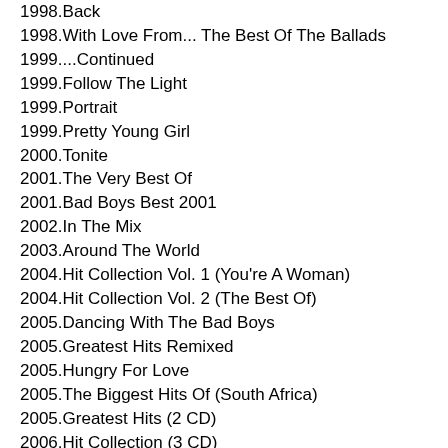1998.Back
1998.With Love From... The Best Of The Ballads
1999....Continued
1999.Follow The Light
1999.Portrait
1999.Pretty Young Girl
2000.Tonite
2001.The Very Best Of
2001.Bad Boys Best 2001
2002.In The Mix
2003.Around The World
2004.Hit Collection Vol. 1 (You're A Woman)
2004.Hit Collection Vol. 2 (The Best Of)
2005.Dancing With The Bad Boys
2005.Greatest Hits Remixed
2005.Hungry For Love
2005.The Biggest Hits Of (South Africa)
2005.Greatest Hits (2 CD)
2006.Hit Collection (3 CD)
2008.Heart & Soul
2008.The Single Hits
2009.Rarities Remixed
2009.Greatest Hits (2 CD) (Bootleg)